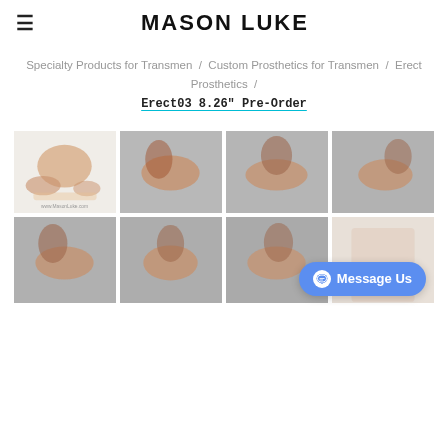MASON LUKE
Specialty Products for Transmen / Custom Prosthetics for Transmen / Erect Prosthetics / Erect03 8.26" Pre-Order
[Figure (photo): Product photo grid showing 8 prosthetic product images in two rows of four]
Message Us